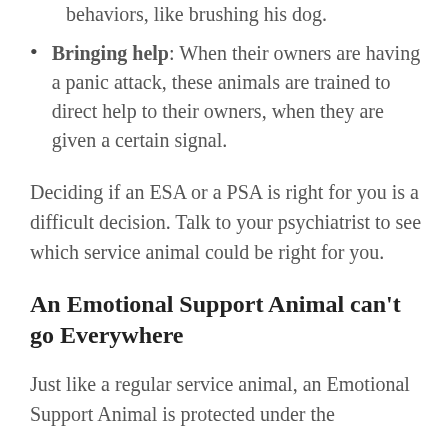and redirects him to more productive behaviors, like brushing his dog.
Bringing help: When their owners are having a panic attack, these animals are trained to direct help to their owners, when they are given a certain signal.
Deciding if an ESA or a PSA is right for you is a difficult decision. Talk to your psychiatrist to see which service animal could be right for you.
An Emotional Support Animal can't go Everywhere
Just like a regular service animal, an Emotional Support Animal is protected under the